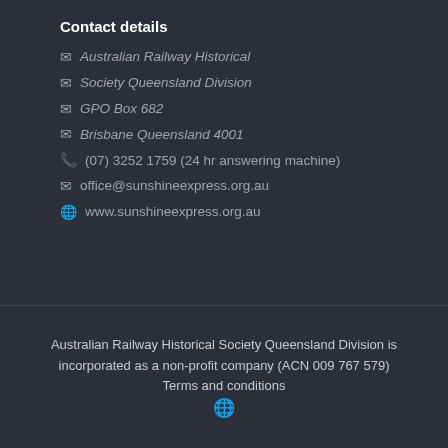Contact details
Australian Railway Historical
Society Queensland Division
GPO Box 682
Brisbane Queensland 4001
(07) 3252 1759 (24 hr answering machine)
office@sunshineexpress.org.au
www.sunshineexpress.org.au
Australian Railway Historical Society Queensland Division is incorporated as a non-profit company (ACN 009 767 579)
Terms and conditions